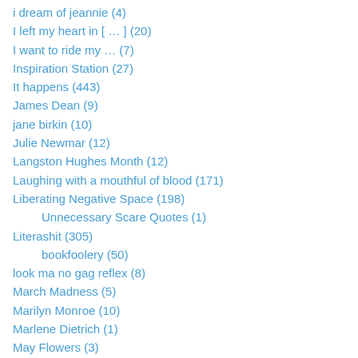i dream of jeannie (4)
I left my heart in [ … ] (20)
I want to ride my … (7)
Inspiration Station (27)
It happens (443)
James Dean (9)
jane birkin (10)
Julie Newmar (12)
Langston Hughes Month (12)
Laughing with a mouthful of blood (171)
Liberating Negative Space (198)
Unnecessary Scare Quotes (1)
Literashit (305)
bookfoolery (50)
look ma no gag reflex (8)
March Madness (5)
Marilyn Monroe (10)
Marlene Dietrich (1)
May Flowers (3)
Mean Girls Monday (27)